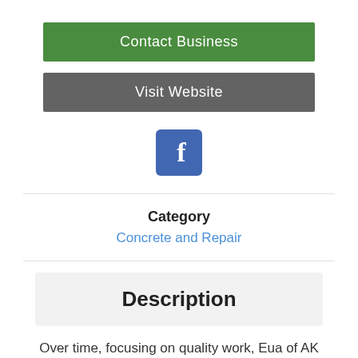Contact Business
Visit Website
[Figure (logo): Facebook logo icon - blue square with white lowercase f]
Category
Concrete and Repair
Description
Over time, focusing on quality work, Eua of AK